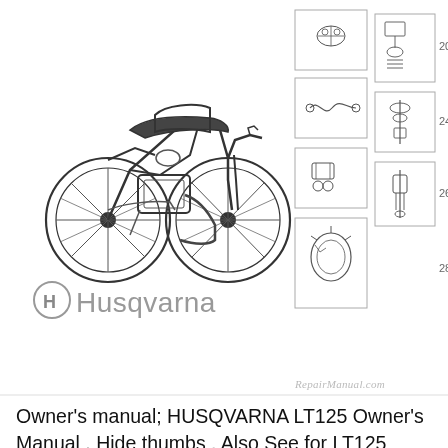[Figure (illustration): Technical illustration of a Husqvarna motorcycle (dirt bike style) shown in profile view, line art style, black and white. Below the motorcycle is the Husqvarna logo with the branded 'H' icon and the word 'Husqvarna' in grey. To the right are exploded parts diagrams showing numbered component breakdowns (numbers 20, 24, 26, 28 visible). A watermark reads 'RepairManual.com' at the bottom right of the image area.]
Owner's manual; HUSQVARNA LT125 Owner's Manual . Hide thumbs . Also See for LT125 Husqvarna LT 151 Instruction Manual 68 pages. Husqvarna LT125 Instruction Manual 68 pages. Husqvarna LT125 Owner's Manual 48 pages. Related Manuals for HUSQVARNA LT125. Lawn Mower Husqvarna LT125 Owner's Manual (32 pages) Lawn Mower Husqvarna 954 00 03-32 Illustrated